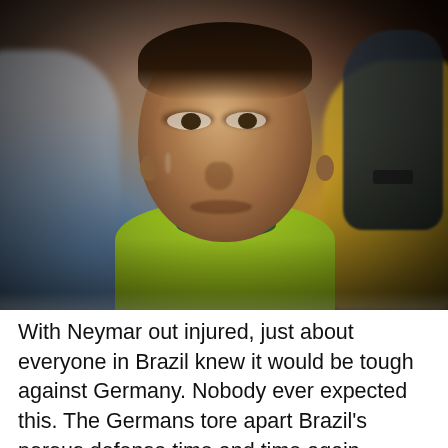[Figure (photo): A young Brazilian boy wearing a yellow and green Brazil football jersey, looking upward with a somber, tearful expression. He is surrounded by a blurred crowd of supporters. The photo is taken at what appears to be a public viewing event during the 2014 FIFA World Cup.]
With Neymar out injured, just about everyone in Brazil knew it would be tough against Germany. Nobody ever expected this. The Germans tore apart Brazil's porous defense time and time again Tuesday, routing the hosts 7-1 in the World Cup semifinals, the largest margin of defeat at this stage in the history of the